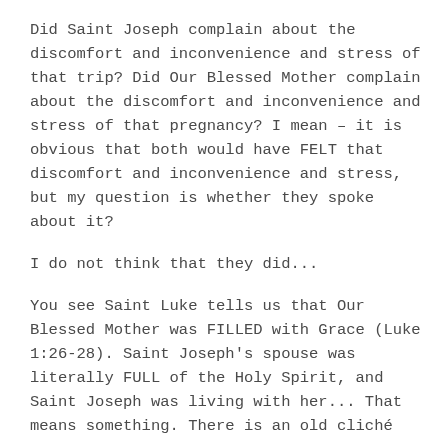Did Saint Joseph complain about the discomfort and inconvenience and stress of that trip?  Did Our Blessed Mother complain about the discomfort and inconvenience and stress of that pregnancy?  I mean – it is obvious that both would have FELT that discomfort and inconvenience and stress, but my question is whether they spoke about it?
I do not think that they did...
You see Saint Luke tells us that Our Blessed Mother was FILLED with Grace (Luke 1:26-28).  Saint Joseph's spouse was literally FULL of the Holy Spirit, and Saint Joseph was living with her...  That means something.  There is an old cliché